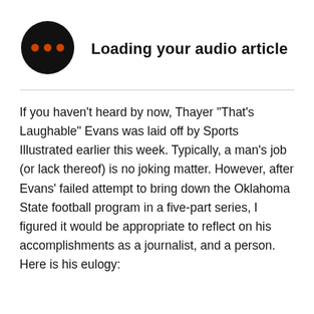[Figure (illustration): Black circle icon with three orange dots arranged horizontally, representing an audio loading indicator]
Loading your audio article
If you haven't heard by now, Thayer "That's Laughable" Evans was laid off by Sports Illustrated earlier this week. Typically, a man's job (or lack thereof) is no joking matter. However, after Evans' failed attempt to bring down the Oklahoma State football program in a five-part series, I figured it would be appropriate to reflect on his accomplishments as a journalist, and a person. Here is his eulogy: